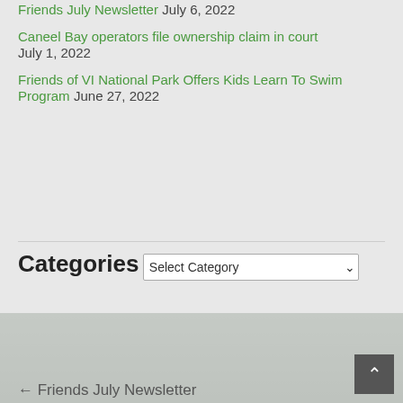Friends July Newsletter July 6, 2022
Caneel Bay operators file ownership claim in court July 1, 2022
Friends of VI National Park Offers Kids Learn To Swim Program June 27, 2022
Categories
Select Category
← Friends July Newsletter